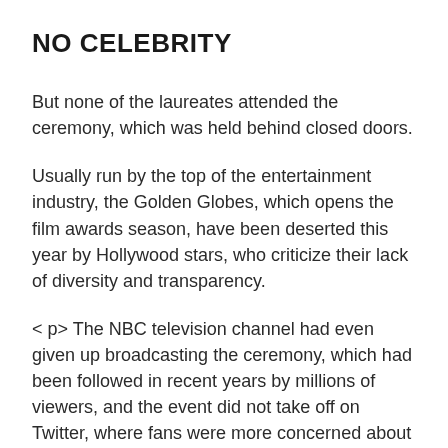NO CELEBRITY
But none of the laureates attended the ceremony, which was held behind closed doors.
Usually run by the top of the entertainment industry, the Golden Globes, which opens the film awards season, have been deserted this year by Hollywood stars, who criticize their lack of diversity and transparency.
< p> The NBC television channel had even given up broadcasting the ceremony, which had been followed in recent years by millions of viewers, and the event did not take off on Twitter, where fans were more concerned about the death, announced